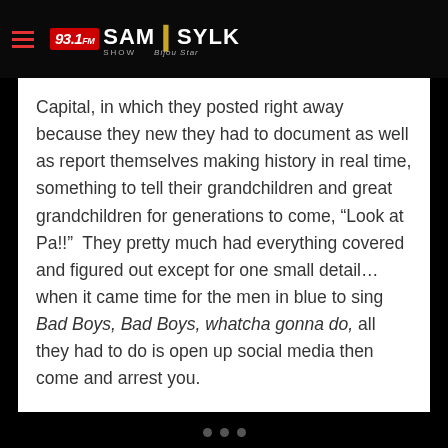93.1 FM SAM SYLK SHOW Bijou Star
Capital, in which they posted right away because they new they had to document as well as report themselves making history in real time, something to tell their grandchildren and great grandchildren for generations to come, “Look at Pa!!”  They pretty much had everything covered and figured out except for one small detail…when it came time for the men in blue to sing Bad Boys, Bad Boys, whatcha gonna do, all they had to do is open up social media then come and arrest you.